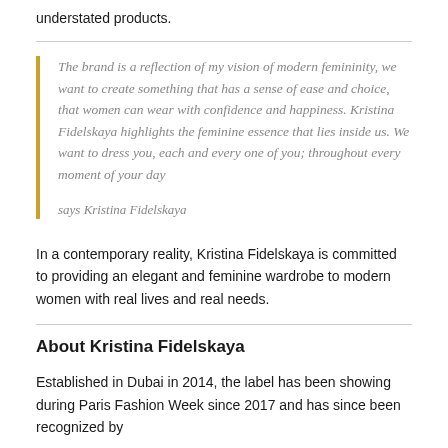understated products.
The brand is a reflection of my vision of modern femininity, we want to create something that has a sense of ease and choice, that women can wear with confidence and happiness. Kristina Fidelskaya highlights the feminine essence that lies inside us. We want to dress you, each and every one of you; throughout every moment of your day

says Kristina Fidelskaya
In a contemporary reality, Kristina Fidelskaya is committed to providing an elegant and feminine wardrobe to modern women with real lives and real needs.
About Kristina Fidelskaya
Established in Dubai in 2014, the label has been showing during Paris Fashion Week since 2017 and has since been recognized by